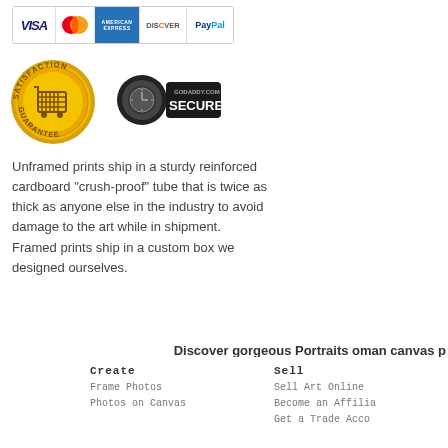[Figure (logo): Payment method logos: VISA, MasterCard, American Express, Discover, PayPal in a bordered bar]
[Figure (logo): Satisfaction Guarantee badge (gold seal) and GoDaddy Secured badge]
Unframed prints ship in a sturdy reinforced cardboard "crush-proof" tube that is twice as thick as anyone else in the industry to avoid damage to the art while in shipment. Framed prints ship in a custom box we designed ourselves.
Discover gorgeous Portraits oman canvas p
Create  Frame Photos  Photos on Canvas  Sell  Sell Art Online  Become an Affilia  Get a Trade Acco